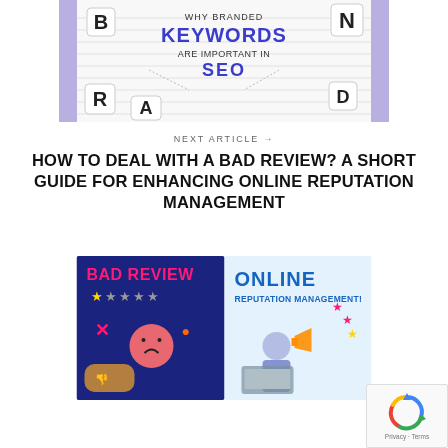[Figure (illustration): Branded keywords SEO illustration showing hands arranging letter tiles spelling BRAND with text 'WHY BRANDED KEYWORDS ARE IMPORTANT IN SEO', purple vertical bars on sides]
NEXT ARTICLE →
HOW TO DEAL WITH A BAD REVIEW? A SHORT GUIDE FOR ENHANCING ONLINE REPUTATION MANAGEMENT
[Figure (illustration): Bad review and online reputation management graphic: left side dark blue with 'BAD REVIEW' text, star rating, sad face emoji, X marks; right side light blue with 'ONLINE REPUTATION MANAGEMENT!' text and person with megaphone and gold stars]
[Figure (logo): reCAPTCHA badge with recycling arrows icon and Privacy - Terms text]